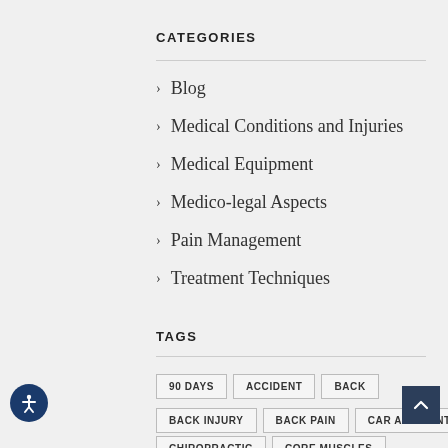CATEGORIES
Blog
Medical Conditions and Injuries
Medical Equipment
Medico-legal Aspects
Pain Management
Treatment Techniques
TAGS
90 DAYS
ACCIDENT
BACK
BACK INJURY
BACK PAIN
CAR ACCIDENT
CHIROPRACTIC
CORE MUSCLES